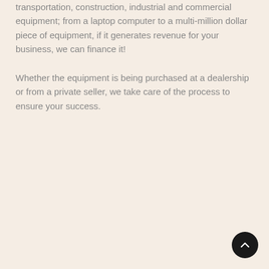transportation, construction, industrial and commercial equipment; from a laptop computer to a multi-million dollar piece of equipment, if it generates revenue for your business, we can finance it!
Whether the equipment is being purchased at a dealership or from a private seller, we take care of the process to ensure your success.